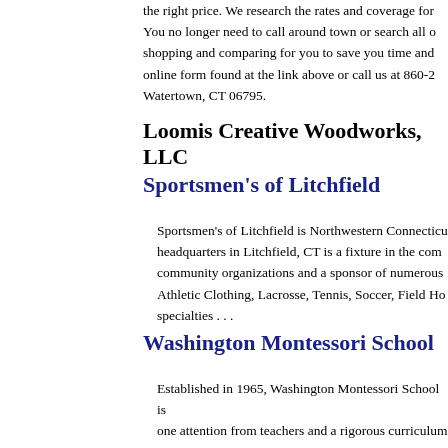the right price. We research the rates and coverage for you. You no longer need to call around town or search all over, shopping and comparing for you to save you time and money. online form found at the link above or call us at 860-2... Watertown, CT 06795.
Loomis Creative Woodworks, LLC
Sportsmen's of Litchfield
Sportsmen's of Litchfield is Northwestern Connecticut... headquarters in Litchfield, CT is a fixture in the community organizations and a sponsor of numerous activities. Athletic Clothing, Lacrosse, Tennis, Soccer, Field Hockey specialties . . .
Washington Montessori School
Established in 1965, Washington Montessori School is... one attention from teachers and a rigorous curriculum develop the self-confidence and academic skills they need.